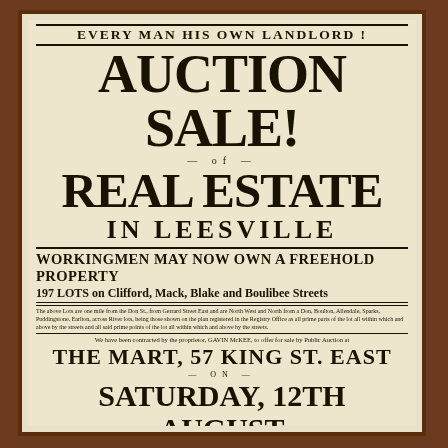EVERY MAN HIS OWN LANDLORD!
AUCTION SALE!
OF
REAL ESTATE
IN LEESVILLE
WORKINGMEN MAY NOW OWN A FREEHOLD PROPERTY
197 LOTS on Clifford, Mack, Blake and Boulibee Streets
The above Lots are one mile from the Don St. from Gerrard Street East and are North West and North from a Don, Boulton, Allendale, Sparks, Puddingstone, Earlton, across River lots, being those shown on the plan registered in the Registry Office as all prime parts of the lot all within which and above by the streets.
We have been contracted by the proprietor, GAVIN McKEE, to offer for sale by Public Auction at
THE MART, 57 KING ST. EAST
ON
SATURDAY, 12TH AUGUST
Instant 4 o'clock p.m. 197 LOTS OF FREEHOLD PROPERTY as shown on Plan No. 568 registered in the Registry Office for the County of York 25th June, 1882.
[Figure (map): Plan/map grid of lots for sale]